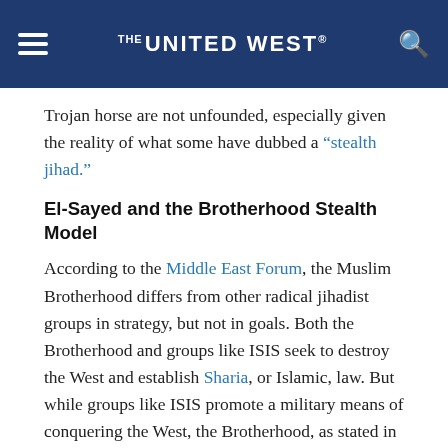THE UNITED WEST
Trojan horse are not unfounded, especially given the reality of what some have dubbed a “stealth jihad.”
El-Sayed and the Brotherhood Stealth Model
According to the Middle East Forum, the Muslim Brotherhood differs from other radical jihadist groups in strategy, but not in goals. Both the Brotherhood and groups like ISIS seek to destroy the West and establish Sharia, or Islamic, law. But while groups like ISIS promote a military means of conquering the West, the Brotherhood, as stated in its internal documents, seeks to penetrate and destroy Western civilization from within — “‘sabotaging’ its miserable house by their (own) hands.”